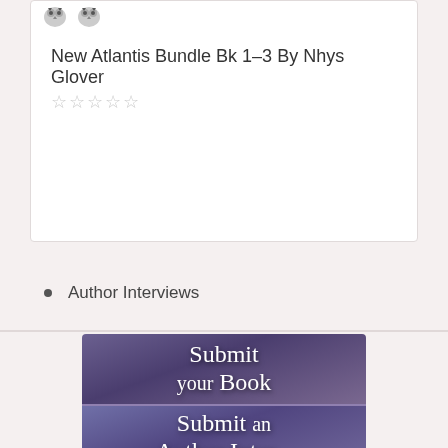[Figure (illustration): Book listing card with owl/bird icons at top, book title and star rating]
New Atlantis Bundle Bk 1-3 By Nhys Glover
Author Interviews
[Figure (illustration): Purple gradient banner with white serif text reading 'Submit your Book']
[Figure (illustration): Purple gradient banner with white serif text reading 'Submit an Author Interview' (partially visible)]